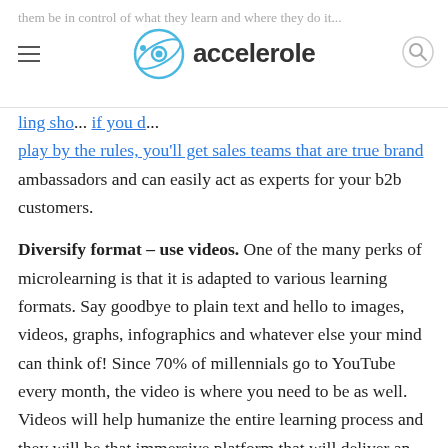accelerole
them be in control of what they learn and where they do it. [faded] ...ling sho... if you d... play by the rules, you'll get sales teams that are true brand ambassadors and can easily act as experts for your b2b customers.
Diversify format – use videos. One of the many perks of microlearning is that it is adapted to various learning formats. Say goodbye to plain text and hello to images, videos, graphs, infographics and whatever else your mind can think of! Since 70% of millennials go to YouTube every month, the video is where you need to be as well. Videos will help humanize the entire learning process and they will be that immersive platform that will deliver an experience for your partners. Studies show microlearning videos should be no longer than 4 minutes. Also, make sure you have a max. of 120 words for every minute of video, for the optimal format. You don't want to rain your viewers under with tons of